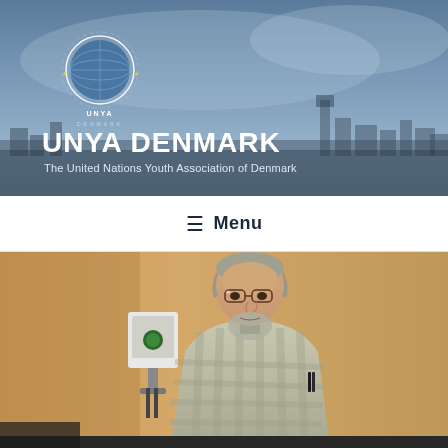[Figure (logo): UNYA Denmark logo - globe icon with laurel wreath and text UNYA DENMARK]
UNYA DENMARK
The United Nations Youth Association of Denmark
≡  Menu
[Figure (photo): An older man with gray beard and glasses, wearing a light plaid shirt, standing in front of an orange/tan wall with some equipment visible on the left side.]